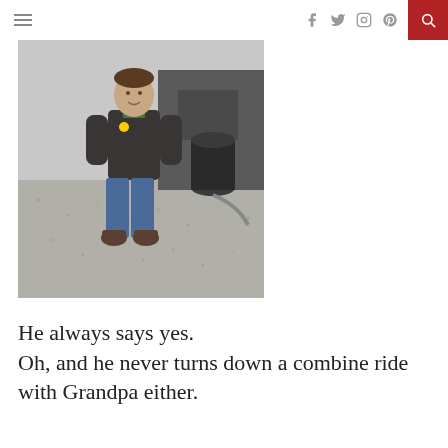navigation header with hamburger menu, social icons (facebook, twitter, instagram, pinterest), and search button
[Figure (photo): Young boy standing outdoors on gravel, wearing a dark hoodie over green shirt, jeans, and boots. A large vehicle and black barrel are visible in the background.]
He always says yes.
Oh, and he never turns down a combine ride with Grandpa either.